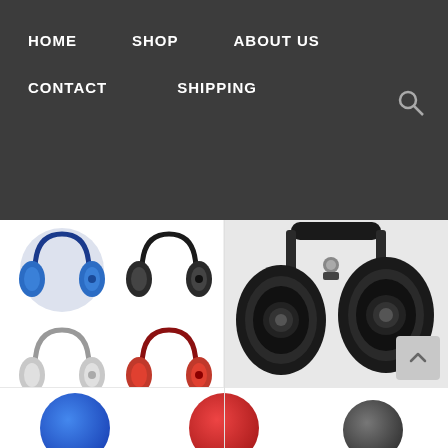HOME   SHOP   ABOUT US   CONTACT   SHIPPING
[Figure (photo): Grid of four Bluedio Foldable Turbine T2 headphones in blue, black, white, and red colors]
Bluedio Foldable Turbine T2 Bluetooth V4.1 Wireless Stereo Headphones Headsets
39,99€  34,99€
Add to cart
[Figure (photo): Close-up of a black Bluedio Foldable Turbine T2 headphone]
Bluedio Foldable Turbine T2 Bluetooth V4.1 Wireless Stereo Headphones Headsets black
39,99€  34,99€
Add to cart